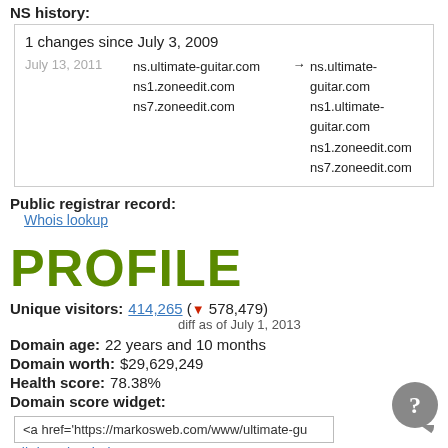NS history:
| 1 changes since July 3, 2009 |
| July 13, 2011 | ns.ultimate-guitar.com
ns1.zoneedit.com
ns7.zoneedit.com | → | ns.ultimate-guitar.com
ns1.ultimate-guitar.com
ns1.zoneedit.com
ns7.zoneedit.com |
Public registrar record:
Whois lookup
PROFILE
Unique visitors: 414,265 (▼ 578,479)
diff as of July 1, 2013
Domain age: 22 years and 10 months
Domain worth: $29,629,249
Health score: 78.38%
Domain score widget:
<a href='https://markosweb.com/www/ultimate-gu
all domain wigdets
Domain worth widget: